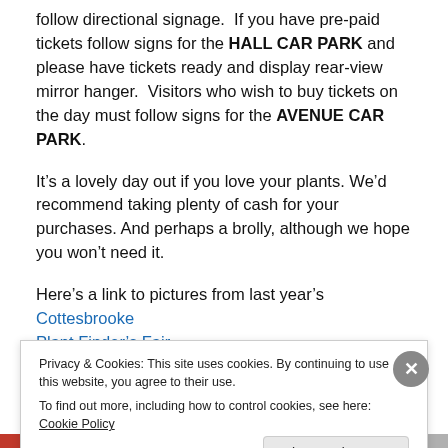follow directional signage. If you have pre-paid tickets follow signs for the HALL CAR PARK and please have tickets ready and display rear-view mirror hanger. Visitors who wish to buy tickets on the day must follow signs for the AVENUE CAR PARK.
It’s a lovely day out if you love your plants. We’d recommend taking plenty of cash for your purchases. And perhaps a brolly, although we hope you won’t need it.
Here’s a link to pictures from last year’s Cottesbrooke Plant Finder’s Fair
Privacy & Cookies: This site uses cookies. By continuing to use this website, you agree to their use.
To find out more, including how to control cookies, see here: Cookie Policy
Close and accept